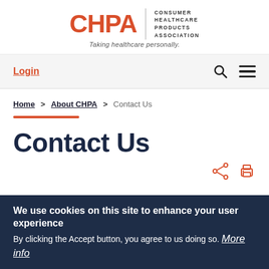[Figure (logo): CHPA logo — Consumer Healthcare Products Association — with tagline 'Taking healthcare personally.']
Login
Home > About CHPA > Contact Us
Contact Us
We use cookies on this site to enhance your user experience
By clicking the Accept button, you agree to us doing so. More info